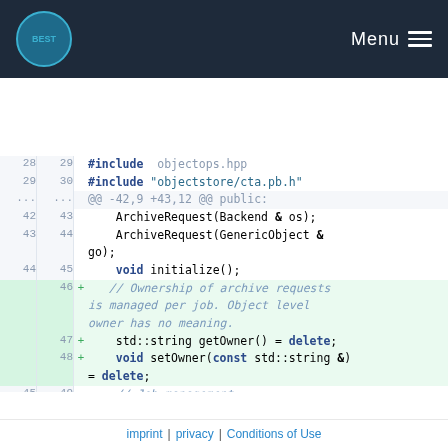BEST | Menu
[Figure (screenshot): Code diff view showing C++ source file changes with line numbers, added lines (green background) and removed lines (red background). Shows #include directives, ArchiveRequest class methods, and addJob function signature.]
imprint | privacy | Conditions of Use